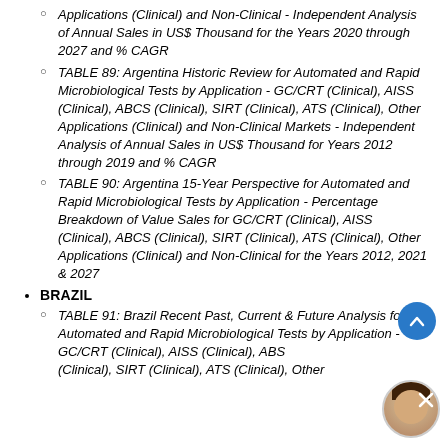Applications (Clinical) and Non-Clinical - Independent Analysis of Annual Sales in US$ Thousand for the Years 2020 through 2027 and % CAGR
TABLE 89: Argentina Historic Review for Automated and Rapid Microbiological Tests by Application - GC/CRT (Clinical), AISS (Clinical), ABCS (Clinical), SIRT (Clinical), ATS (Clinical), Other Applications (Clinical) and Non-Clinical Markets - Independent Analysis of Annual Sales in US$ Thousand for Years 2012 through 2019 and % CAGR
TABLE 90: Argentina 15-Year Perspective for Automated and Rapid Microbiological Tests by Application - Percentage Breakdown of Value Sales for GC/CRT (Clinical), AISS (Clinical), ABCS (Clinical), SIRT (Clinical), ATS (Clinical), Other Applications (Clinical) and Non-Clinical for the Years 2012, 2021 & 2027
BRAZIL
TABLE 91: Brazil Recent Past, Current & Future Analysis for Automated and Rapid Microbiological Tests by Application - GC/CRT (Clinical), AISS (Clinical), ABCS (Clinical), SIRT (Clinical), ATS (Clinical), Other